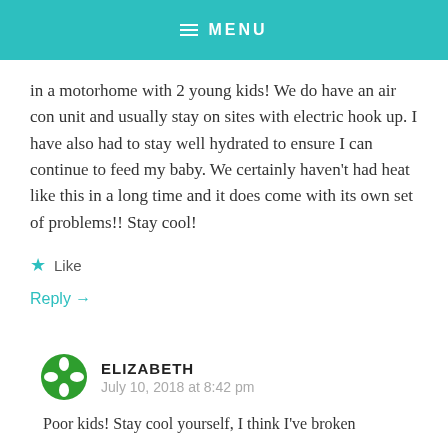MENU
in a motorhome with 2 young kids! We do have an air con unit and usually stay on sites with electric hook up. I have also had to stay well hydrated to ensure I can continue to feed my baby. We certainly haven't had heat like this in a long time and it does come with its own set of problems!! Stay cool!
★ Like
Reply →
ELIZABETH
July 10, 2018 at 8:42 pm
Poor kids! Stay cool yourself, I think I've broken